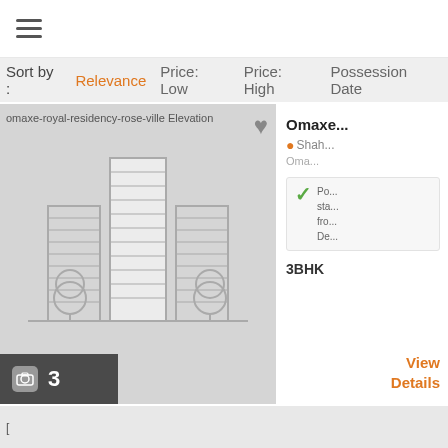≡ (hamburger menu)
Sort by :   Relevance   Price: Low   Price: High   Possession Date
[Figure (screenshot): Property listing card showing omaxe-royal-residency-rose-ville Elevation building illustration with heart icon, camera/photo count badge showing 3 photos, and property details on the right including name starting with Omaxe, location Shah..., Oma..., possession status check, 3BHK label, and View Details link in orange]
[Figure (screenshot): Bottom portion of next listing card showing the-legends Elevation image label]